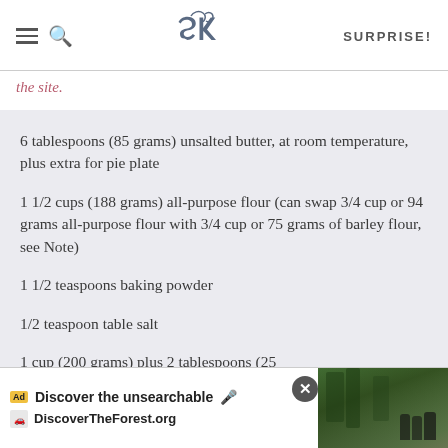SK | SURPRISE!
the site.
6 tablespoons (85 grams) unsalted butter, at room temperature, plus extra for pie plate
1 1/2 cups (188 grams) all-purpose flour (can swap 3/4 cup or 94 grams all-purpose flour with 3/4 cup or 75 grams of barley flour, see Note)
1 1/2 teaspoons baking powder
1/2 teaspoon table salt
1 cup (200 grams) plus 2 tablespoons (25 gr...
[Figure (screenshot): Advertisement overlay: 'Discover the unsearchable' / DiscoverTheForest.org with forest photo background]